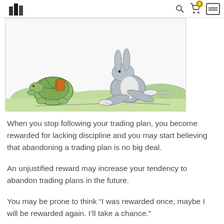[Figure (illustration): Cartoon illustration of a tortoise and a hare running, reminiscent of Aesop's fable. The tortoise is on the left with a backpack, and the hare is on the right running fast. Background has green bushes.]
When you stop following your trading plan, you become rewarded for lacking discipline and you may start believing that abandoning a trading plan is no big deal.
An unjustified reward may increase your tendency to abandon trading plans in the future.
You may be prone to think “I was rewarded once, maybe I will be rewarded again. I’ll take a chance.”